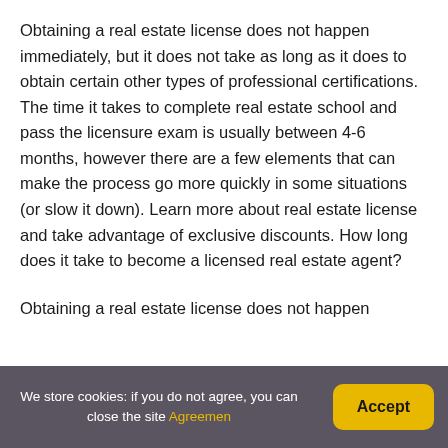Obtaining a real estate license does not happen immediately, but it does not take as long as it does to obtain certain other types of professional certifications. The time it takes to complete real estate school and pass the licensure exam is usually between 4-6 months, however there are a few elements that can make the process go more quickly in some situations (or slow it down). Learn more about real estate license and take advantage of exclusive discounts. How long does it take to become a licensed real estate agent?
Obtaining a real estate license does not happen
We store cookies: if you do not agree, you can close the site Agreemen